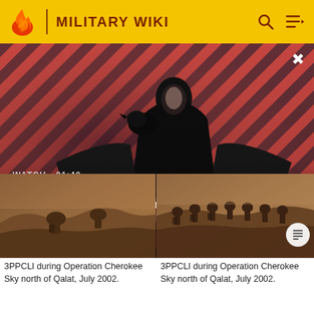MILITARY WIKI
[Figure (screenshot): Hero video banner for 'The Sandman Will Keep You Awake - The Loop' with diagonal red-pink striped background, a dark-cloaked figure with a raven on their shoulder, WATCH • 01:40 label, and a circular play button]
The Sandman Will Keep You Awake - The Loop
[Figure (photo): Sepia-toned photo of 3PPCLI soldiers during Operation Cherokee Sky north of Qalat, July 2002 - left thumbnail]
3PPCLI during Operation Cherokee Sky north of Qalat, July 2002.
[Figure (photo): Sepia-toned photo of 3PPCLI soldiers during Operation Cherokee Sky north of Qalat, July 2002 - right thumbnail with article icon]
3PPCLI during Operation Cherokee Sky north of Qalat, July 2002.